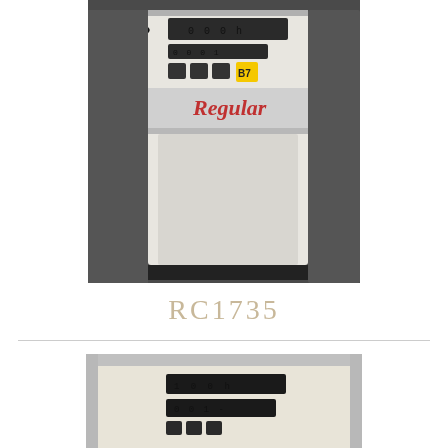[Figure (photo): Photo of a white fuel pump labeled 'Regular' with a Speedy Motor Fuels logo, digital display, hose, and a yellow B7 sticker. The pump is inside a gas station.]
RC1735
[Figure (photo): Close-up photo of the front panel of a fuel pump with stainless steel trim, showing digital numeric displays and button controls on a cream/white background.]